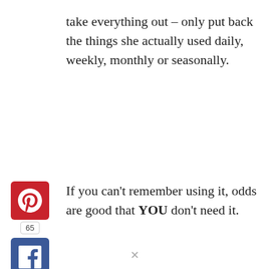take everything out – only put back the things she actually used daily, weekly, monthly or seasonally.
[Figure (other): Pinterest share button with count 65, Facebook share button, Twitter share button in a vertical social sidebar]
If you can't remember using it, odds are good that YOU don't need it.
If it's obvious trash, throw it away – as in, throw it in a garbage bag and, once the bag is full, get the bag OUT of your home and into a trashcan.